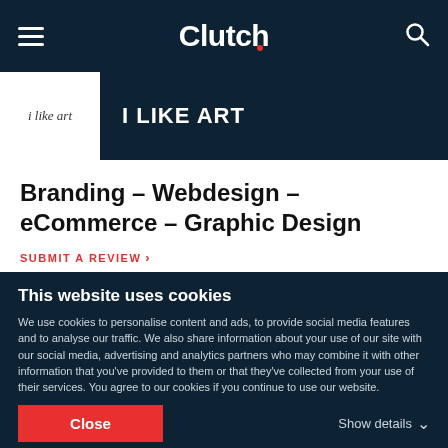Clutch
[Figure (logo): I Like Art company logo with italic handwritten text]
I LIKE ART
Branding – Webdesign – eCommerce – Graphic Design
SUBMIT A REVIEW >
In I LIKE ART studio we build positive brand's image and provide consistent graphic designs. We identify companies visually and create coherent website arrangements. Various
This website uses cookies
We use cookies to personalise content and ads, to provide social media features and to analyse our traffic. We also share information about your use of our site with our social media, advertising and analytics partners who may combine it with other information that you've provided to them or that they've collected from your use of their services. You agree to our cookies if you continue to use our website.
Close
Show details